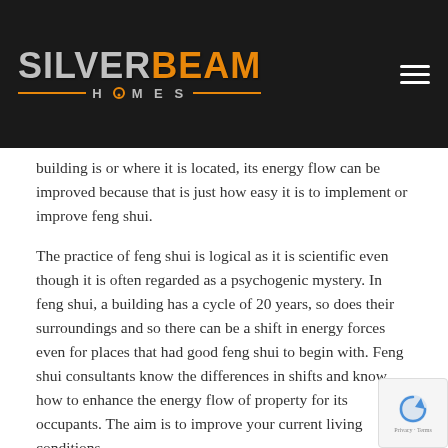SILVERBEAM HOMES
building is or where it is located, its energy flow can be improved because that is just how easy it is to implement or improve feng shui.
The practice of feng shui is logical as it is scientific even though it is often regarded as a psychogenic mystery. In feng shui, a building has a cycle of 20 years, so does their surroundings and so there can be a shift in energy forces even for places that had good feng shui to begin with. Feng shui consultants know the differences in shifts and know how to enhance the energy flow of property for its occupants. The aim is to improve your current living conditions.
Why Is BC Experiencing Good Feng Shui
But back to BC's feng shui. Is there a thing as a good real estate feng shui? Well turns out that according to feng shui consultant